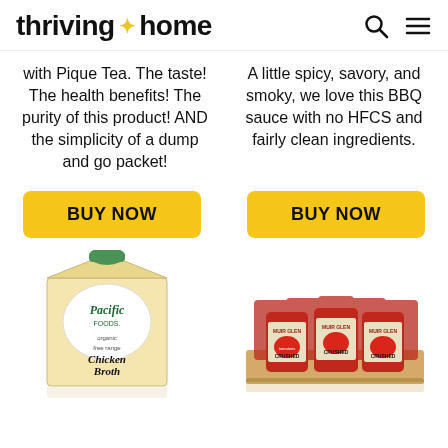thriving * home
with Pique Tea. The taste! The health benefits! The purity of this product! AND the simplicity of a dump and go packet!
A little spicy, savory, and smoky, we love this BBQ sauce with no HFCS and fairly clean ingredients.
[Figure (other): BUY NOW yellow button left column]
[Figure (other): BUY NOW yellow button right column]
[Figure (photo): Pacific Foods organic free range Chicken Broth carton]
[Figure (photo): Muir Glen organic crushed tomatoes cans in a box]